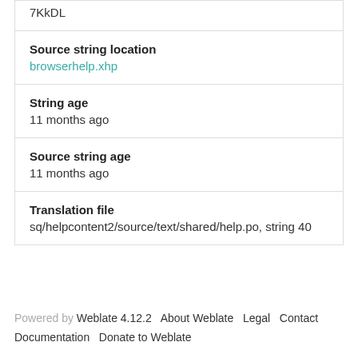7KkDL
Source string location
browserhelp.xhp
String age
11 months ago
Source string age
11 months ago
Translation file
sq/helpcontent2/source/text/shared/help.po, string 40
Powered by Weblate 4.12.2  About Weblate  Legal  Contact  Documentation  Donate to Weblate